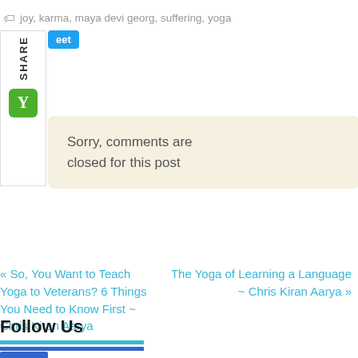joy, karma, maya devi georg, suffering, yoga
[Figure (screenshot): Share sidebar with SHARE label rotated vertically, Tweet button in blue, and Yummly green icon]
Sorry, comments are closed for this post
« So, You Want to Teach Yoga to Veterans? 6 Things You Need to Know First ~ Chris Kiran Aarya
The Yoga of Learning a Language ~ Chris Kiran Aarya »
Follow Us